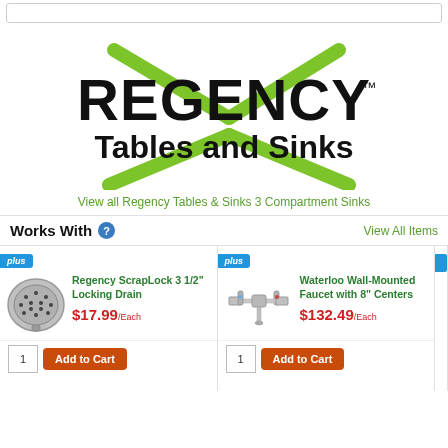[Figure (logo): Regency Tables and Sinks logo with green X crosshatch design and bold black text]
View all Regency Tables & Sinks 3 Compartment Sinks
Works With
View All Items
[Figure (photo): Regency ScrapLock 3 1/2 inch Locking Drain product image]
Regency ScrapLock 3 1/2" Locking Drain
$17.99/Each
[Figure (photo): Waterloo Wall-Mounted Faucet with 8 inch Centers product image]
Waterloo Wall-Mounted Faucet with 8" Centers
$132.49/Each